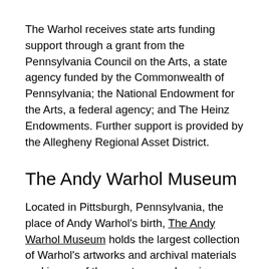The Warhol receives state arts funding support through a grant from the Pennsylvania Council on the Arts, a state agency funded by the Commonwealth of Pennsylvania; the National Endowment for the Arts, a federal agency; and The Heinz Endowments. Further support is provided by the Allegheny Regional Asset District.
The Andy Warhol Museum
Located in Pittsburgh, Pennsylvania, the place of Andy Warhol's birth, The Andy Warhol Museum holds the largest collection of Warhol's artworks and archival materials and is one of the most comprehensive single-artist museums in the world.